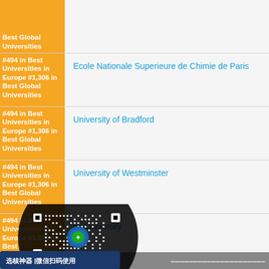#Best Global Universities in Best Global Universities
#494 in Best Universities in Europe #1,306 in Best Global Universities — Ecole Nationale Superieure de Chimie de Paris
#494 in Best Universities in Europe #1,306 in Best Global Universities — University of Bradford
#494 in Best Universities in Europe #1,306 in Best Global Universities — University of Westminster
on University